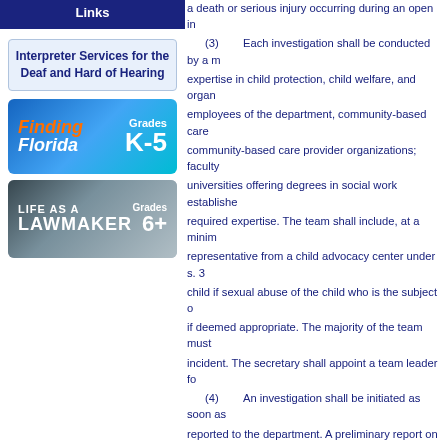Links
Interpreter Services for the Deaf and Hard of Hearing
[Figure (illustration): Finding Florida Grades K-5 educational banner with blue gradient background, orange and white text]
[Figure (illustration): Life as a Lawmaker Grades 6+ educational banner with dark background and capitol building image]
a death or serious injury occurring during an open in... (3) Each investigation shall be conducted by a m... expertise in child protection, child welfare, and organ... employees of the department, community-based care... community-based care provider organizations; faculty... universities offering degrees in social work establishe... required expertise. The team shall include, at a minim... representative from a child advocacy center under s. 3... child if sexual abuse of the child who is the subject o... if deemed appropriate. The majority of the team must... incident. The secretary shall appoint a team leader fo... (4) An investigation shall be initiated as soon as... reported to the department. A preliminary report on ea... days after the investigation begins. (5) Each member of the team is authorized to acc... (6) All employees of the department or other stat... lead agencies and community-based care lead agency... participating in interviews and timely responding to a... only access the records and information of contracted... department by law. (7) The secretary shall develop cooperative agre... facilitate the work required under this section. (8) The members of the team may be reimbursed...